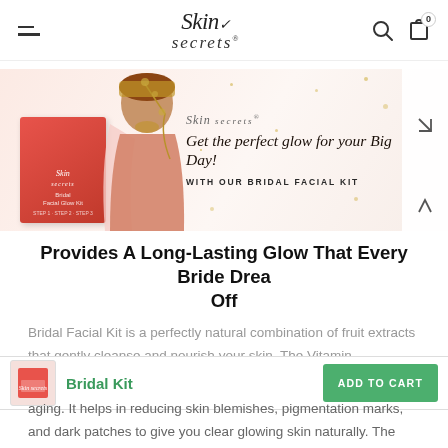Skin Secrets — navigation header with hamburger menu, logo, search and cart icons
[Figure (photo): Bridal Facial Kit product banner showing a bride in traditional jewelry next to a red product box, with text 'Get the perfect glow for your Big Day! WITH OUR BRIDAL FACIAL KIT' and Skin Secrets logo]
Provides A Long-Lasting Glow That Every Bride Dreams Off
Bridal Facial Kit is a perfectly natural combination of fruit extracts that gently cleanse and nourish your skin. The Vitamin
aging. It helps in reducing skin blemishes, pigmentation marks, and dark patches to give you clear glowing skin naturally. The